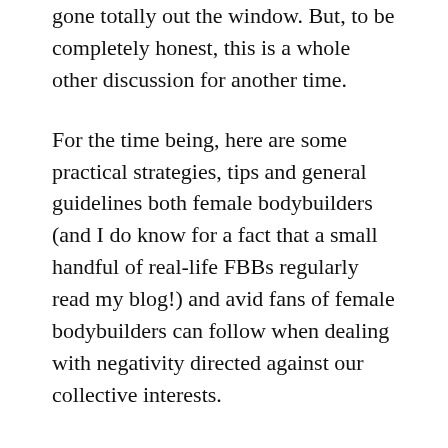gone totally out the window. But, to be completely honest, this is a whole other discussion for another time.
For the time being, here are some practical strategies, tips and general guidelines both female bodybuilders (and I do know for a fact that a small handful of real-life FBBs regularly read my blog!) and avid fans of female bodybuilders can follow when dealing with negativity directed against our collective interests.
1. Negativity is inevitable and will probably never go away
This is a difficult reality to deal with, but